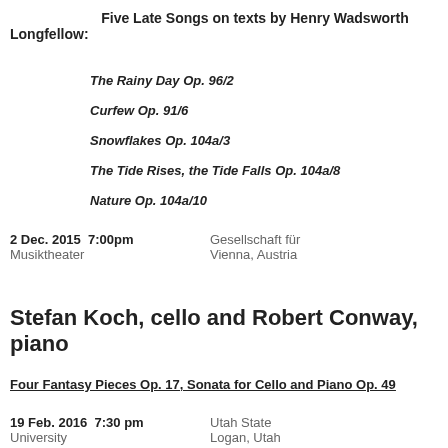Five Late Songs on texts by Henry Wadsworth Longfellow:
The Rainy Day Op. 96/2
Curfew Op. 91/6
Snowflakes Op. 104a/3
The Tide Rises, the Tide Falls Op. 104a/8
Nature Op. 104a/10
2 Dec. 2015  7:00pm  Gesellschaft für Musiktheater  Vienna, Austria
Stefan Koch, cello and Robert Conway, piano
Four Fantasy Pieces Op. 17, Sonata for Cello and Piano Op. 49
19 Feb. 2016  7:30 pm  Utah State University  Logan, Utah
15 March 2016  4:30 pm  University of Vermont  Burlington, Vermont